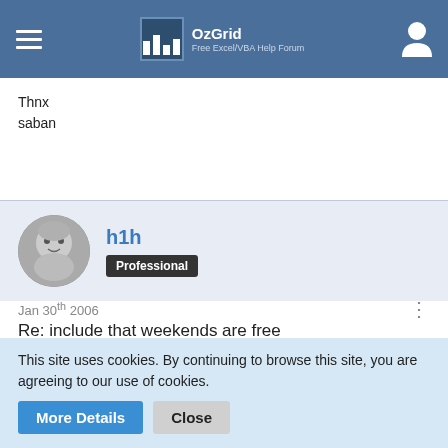OzGrid Free Excel/VBA Help Forum
Thnx
saban
h1h
Professional
Jan 30th 2006
Re: include that weekends are free
a negativ value shows how many days ahead of scedule (deadline) a job will be completed. Apositiv how long the
This site uses cookies. By continuing to browse this site, you are agreeing to our use of cookies.